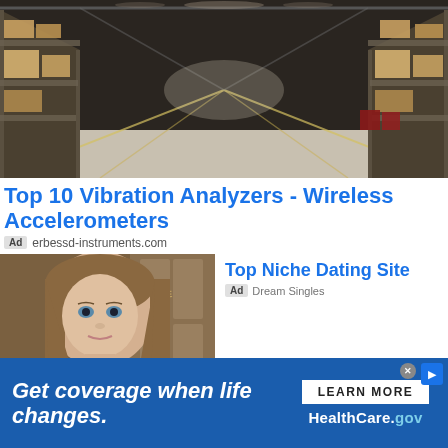[Figure (photo): Warehouse interior with shelving racks on both sides, boxes/pallets, yellow lane markings on floor, perspective view down the aisle]
Top 10 Vibration Analyzers - Wireless Accelerometers
Ad  erbessd-instruments.com
[Figure (photo): Young woman with long brown hair taking a selfie near lockers]
Top Niche Dating Site
Ad  Dream Singles
[Figure (photo): Construction cranes against a cloudy sky]
Get Materials Now, Pay Later - Pay When Paid.
[Figure (infographic): HealthCare.gov banner ad: 'Get coverage when life changes.' with LEARN MORE button and HealthCare.gov branding on blue background]